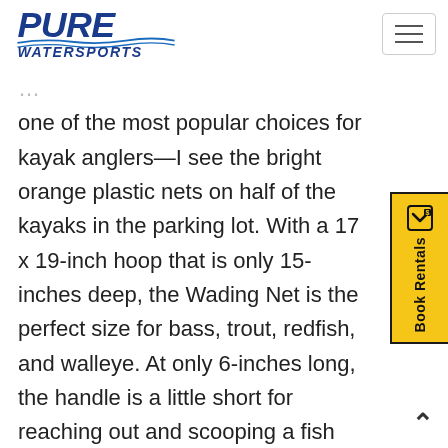Pure Watersports logo and navigation
[Figure (logo): Pure Watersports logo with blue italic text and wave graphic]
one of the most popular choices for kayak anglers—I see the bright orange plastic nets on half of the kayaks in the parking lot. With a 17 x 19-inch hoop that is only 15-inches deep, the Wading Net is the perfect size for bass, trout, redfish, and walleye. At only 6-inches long, the handle is a little short for reaching out and scooping a fish without leaning over the side of the kayak.